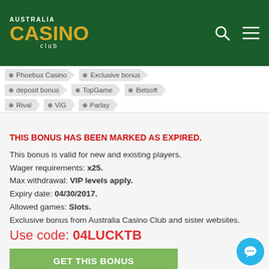[Figure (logo): Australia Casino Club logo on dark green header with search and menu icons]
Phoebus Casino
Exclusive bonus
deposit bonus
TopGame
Betsoft
Rival
ViG
Parlay
THIS BONUS HAS BEEN MARKED AS EXPIRED.
This bonus is valid for new and existing players.
Wager requirements: x25.
Max withdrawal: VIP levels apply.
Expiry date: 04/30/2017.
Allowed games: Slots.
Exclusive bonus from Australia Casino Club and sister websites. Minimun deposit: $30
Use code: 04LUCKTB
GET THIS BONUS